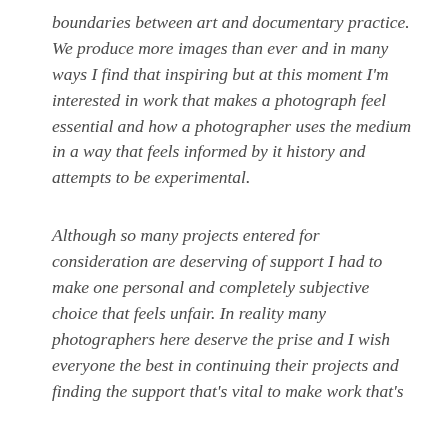boundaries between art and documentary practice. We produce more images than ever and in many ways I find that inspiring but at this moment I'm interested in work that makes a photograph feel essential and how a photographer uses the medium in a way that feels informed by it history and attempts to be experimental.
Although so many projects entered for consideration are deserving of support I had to make one personal and completely subjective choice that feels unfair. In reality many photographers here deserve the prise and I wish everyone the best in continuing their projects and finding the support that's vital to make work that's